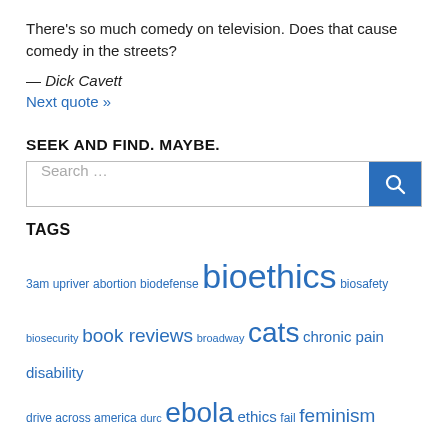There's so much comedy on television. Does that cause comedy in the streets?
— Dick Cavett
Next quote »
SEEK AND FIND. MAYBE.
[Figure (other): Search input box with blue search button]
TAGS
3am upriver abortion biodefense bioethics biosafety biosecurity book reviews broadway cats chronic pain disability drive across america durc ebola ethics fail feminism food health